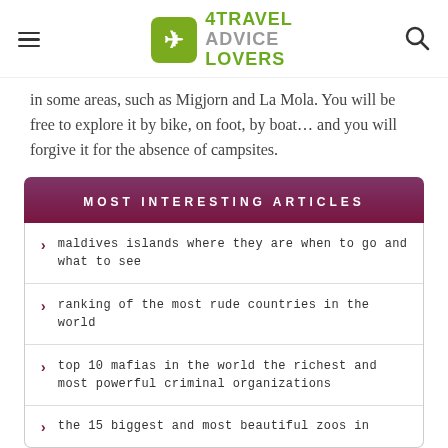4TRAVEL ADVICE LOVERS
in some areas, such as Migjorn and La Mola. You will be free to explore it by bike, on foot, by boat… and you will forgive it for the absence of campsites.
MOST INTERESTING ARTICLES
maldives islands where they are when to go and what to see
ranking of the most rude countries in the world
top 10 mafias in the world the richest and most powerful criminal organizations
the 15 biggest and most beautiful zoos in